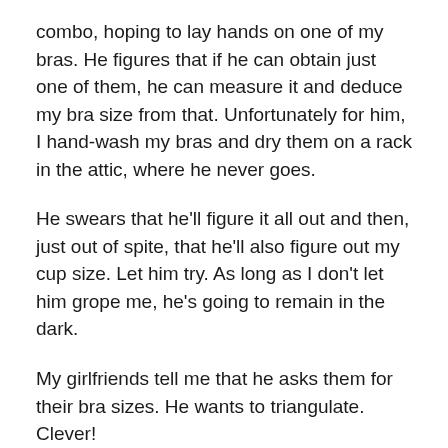combo, hoping to lay hands on one of my bras. He figures that if he can obtain just one of them, he can measure it and deduce my bra size from that. Unfortunately for him, I hand-wash my bras and dry them on a rack in the attic, where he never goes.
He swears that he'll figure it all out and then, just out of spite, that he'll also figure out my cup size. Let him try. As long as I don't let him grope me, he's going to remain in the dark.
My girlfriends tell me that he asks them for their bra sizes. He wants to triangulate. Clever!
I didn't marry a fool, just a Nosy Norbert.
Once, in a weak moment, he told me that after he got over the bra hump, he was going to start on my panties. This